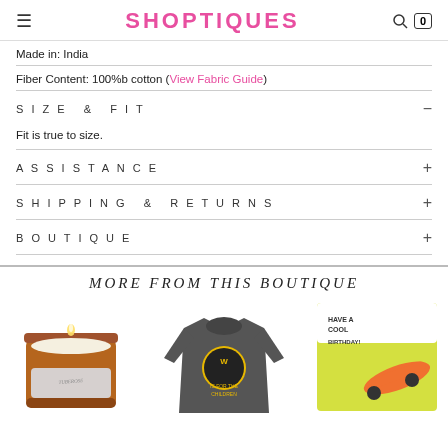SHOPTIQUES
Made in: India
Fiber Content: 100%b cotton (View Fabric Guide)
SIZE & FIT
Fit is true to size.
ASSISTANCE
SHIPPING & RETURNS
BOUTIQUE
MORE FROM THIS BOUTIQUE
[Figure (photo): Three product photos: a candle in amber glass jar, a child's long-sleeve Wu-Tang shirt, and a yellow birthday card with skateboard graphic.]